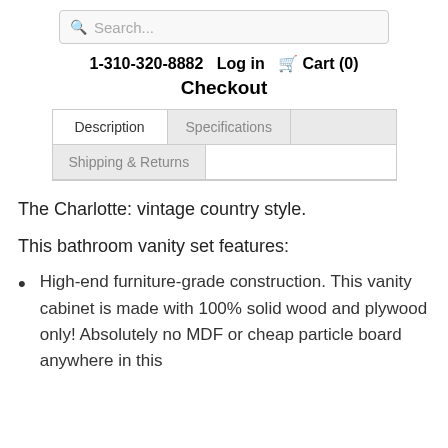Search...
1-310-320-8882   Log in   Cart (0)   Checkout
Description | Specifications | Shipping & Returns
The Charlotte: vintage country style.
This bathroom vanity set features:
High-end furniture-grade construction. This vanity cabinet is made with 100% solid wood and plywood only! Absolutely no MDF or cheap particle board anywhere in this